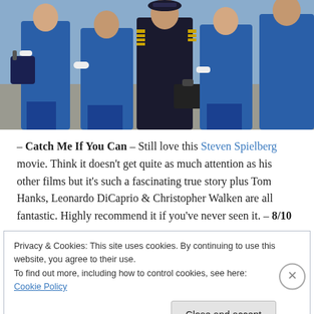[Figure (photo): Photo from the movie Catch Me If You Can showing people dressed as airline pilots and flight attendants in blue uniforms walking together.]
– Catch Me If You Can – Still love this Steven Spielberg movie. Think it doesn't get quite as much attention as his other films but it's such a fascinating true story plus Tom Hanks, Leonardo DiCaprio & Christopher Walken are all fantastic. Highly recommend it if you've never seen it. – 8/10
Privacy & Cookies: This site uses cookies. By continuing to use this website, you agree to their use.
To find out more, including how to control cookies, see here: Cookie Policy